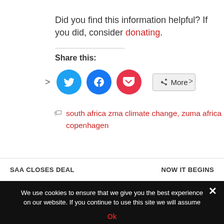Did you find this information helpful? If you did, consider donating.
Share this:
[Figure (other): Social share buttons: Twitter (blue circle), Facebook (blue circle), Pocket (red circle), and a More button with share icon. Navigation arrows on left and right.]
south africa zma climate change, zuma africa copenhagen
SAA CLOSES DEAL
NOW IT BEGINS
We use cookies to ensure that we give you the best experience on our website. If you continue to use this site we will assume that you are happy with it.
Ok